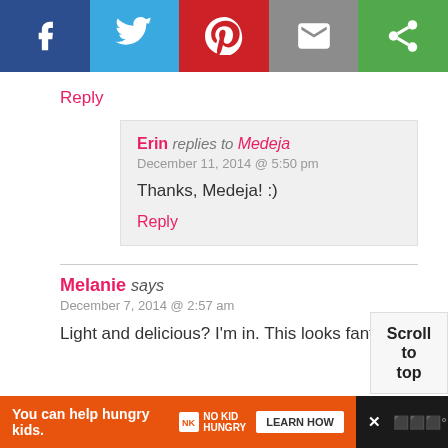[Figure (infographic): Social sharing bar with five buttons: Facebook (dark blue), Twitter (light blue), Pinterest (red), Email (gray), and another share icon (green)]
Reply
Erin replies to Medeja
December 11, 2014 @ 5:50 pm
Thanks, Medeja! :)
Reply
Melanie says
December 7, 2014 @ 2:57 am
Light and delicious? I'm in. This looks fantastic!
[Figure (screenshot): Scroll to top button]
You can help hungry kids. NO KID HUNGRY LEARN HOW